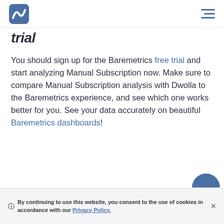Baremetrics logo and navigation menu
trial
You should sign up for the Baremetrics free trial and start analyzing Manual Subscription now. Make sure to compare Manual Subscription analysis with Dwolla to the Baremetrics experience, and see which one works better for you. See your data accurately on beautiful Baremetrics dashboards!
🛈 By continuing to use this website, you consent to the use of cookies in accordance with our Privacy Policy. ×